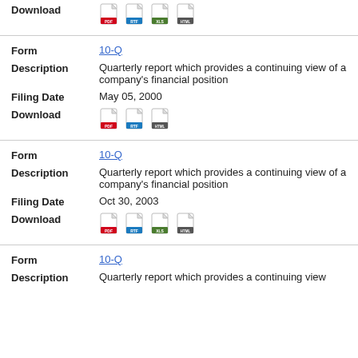Download (PDF, RTF, XLS, HTML icons)
Form: 10-Q
Description: Quarterly report which provides a continuing view of a company's financial position
Filing Date: May 05, 2000
Download (PDF, RTF, HTML icons)
Form: 10-Q
Description: Quarterly report which provides a continuing view of a company's financial position
Filing Date: Oct 30, 2003
Download (PDF, RTF, XLS, HTML icons)
Form: 10-Q
Description: Quarterly report which provides a continuing view